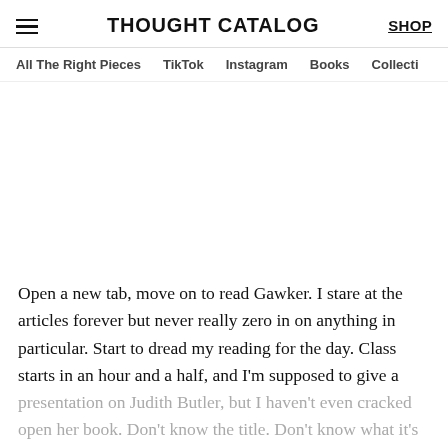THOUGHT CATALOG | SHOP | All The Right Pieces | TikTok | Instagram | Books | Collecti
Open a new tab, move on to read Gawker. I stare at the articles forever but never really zero in on anything in particular. Start to dread my reading for the day. Class starts in an hour and a half, and I'm supposed to give a
presentation on Judith Butler, but I haven't even cracked open her book. Don't know the title. Don't know what it's